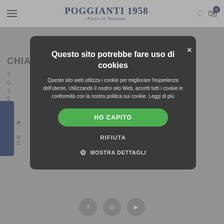[Figure (screenshot): Poggianti 1958 e-commerce website header with hamburger menu, logo, heart and cart icons]
Questo sito potrebbe fare uso di cookies
Questo sito web utilizza i cookie per migliorare l'esperienza dell'utente. Utilizzando il nostro sito Web, accetti tutti i cookie in conformità con la nostra politica sui cookie. Leggi di più
HO CAPITO
RIFIUTA
MOSTRA DETTAGLI